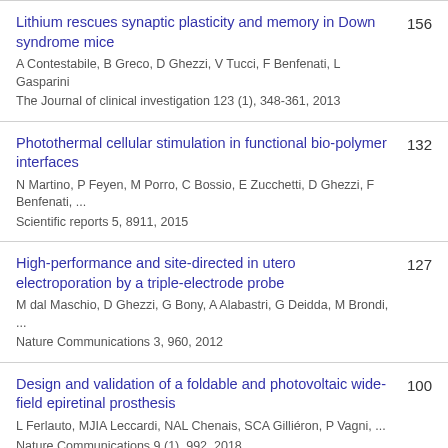Lithium rescues synaptic plasticity and memory in Down syndrome mice | A Contestabile, B Greco, D Ghezzi, V Tucci, F Benfenati, L Gasparini | The Journal of clinical investigation 123 (1), 348-361, 2013 | 156
Photothermal cellular stimulation in functional bio-polymer interfaces | N Martino, P Feyen, M Porro, C Bossio, E Zucchetti, D Ghezzi, F Benfenati, ... | Scientific reports 5, 8911, 2015 | 132
High-performance and site-directed in utero electroporation by a triple-electrode probe | M dal Maschio, D Ghezzi, G Bony, A Alabastri, G Deidda, M Brondi, ... | Nature Communications 3, 960, 2012 | 127
Design and validation of a foldable and photovoltaic wide-field epiretinal prosthesis | L Ferlauto, MJIA Leccardi, NAL Chenais, SCA Gilliéron, P Vagni, ... | Nature Communications 9 (1), 992, 2018 | 100